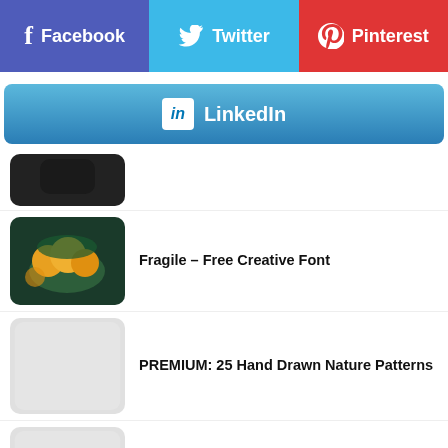[Figure (infographic): Social sharing buttons row: Facebook (purple), Twitter (light blue), Pinterest (red)]
[Figure (infographic): LinkedIn sharing button bar (blue gradient)]
[Figure (photo): Partial top image (dark, cut off at top)]
[Figure (photo): Oranges/tangerines on a dark teal background]
Fragile – Free Creative Font
[Figure (photo): Light grey placeholder thumbnail]
PREMIUM: 25 Hand Drawn Nature Patterns
[Figure (photo): Light grey placeholder thumbnail]
Playful – Free Hand Drawn Font
[Figure (photo): Dark background with colorful abstract AI illustration]
Flat-style Artificial Inteligence Illustration For Your Next Design